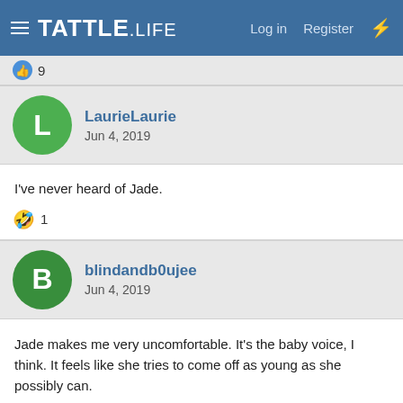TATTLE.life — Log in | Register
👍 9
LaurieLaurie
Jun 4, 2019
I've never heard of Jade.
🤣 1
blindandb0ujee
Jun 4, 2019
Jade makes me very uncomfortable. It's the baby voice, I think. It feels like she tries to come off as young as she possibly can.
👍 9
BroGooGoo